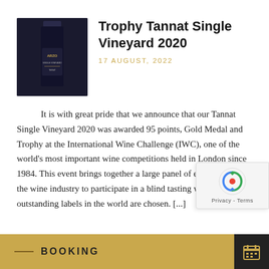[Figure (photo): Dark wine bottle label with text 'ARZO' and 'SINGLE VINEYARD' visible against a dark background]
Trophy Tannat Single Vineyard 2020
17 AUGUST, 2022
It is with great pride that we announce that our Tannat Single Vineyard 2020 was awarded 95 points, Gold Medal and Trophy at the International Wine Challenge (IWC), one of the world's most important wine competitions held in London since 1984. This event brings together a large panel of experts from the wine industry to participate in a blind tasting where the most outstanding labels in the world are chosen. [...]
BOOKING